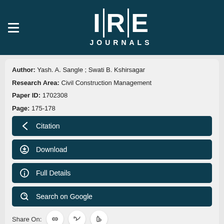IRE JOURNALS
Author: Yash. A. Sangle ; Swati B. Kshirsagar
Research Area: Civil Construction Management
Paper ID: 1702308
Page: 175-178
Citation
Download
Full Details
Search on Google
Share On:
32
A Comparative Study of Defluoridation of Water